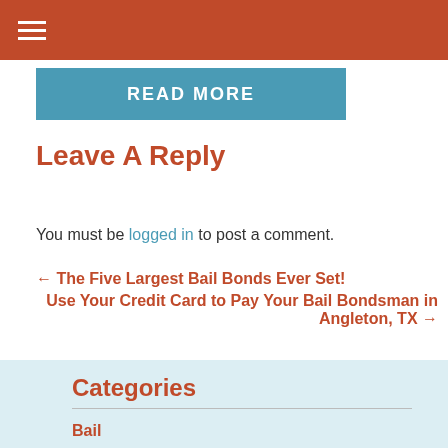READ MORE
Leave A Reply
You must be logged in to post a comment.
← The Five Largest Bail Bonds Ever Set!
Use Your Credit Card to Pay Your Bail Bondsman in Angleton, TX →
Categories
Bail
Bail Bonds
Bail Bonds Agent
Bond Agency
Bonds
Bondsman
Collateral